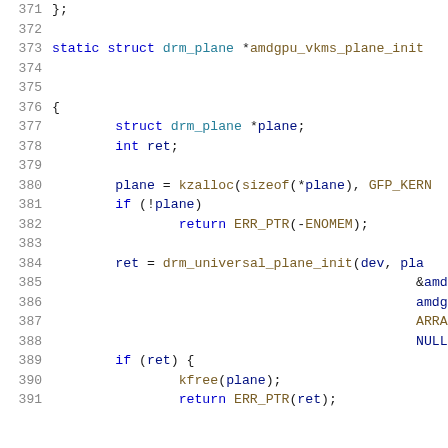[Figure (screenshot): Source code listing showing C code for amdgpu vkms plane init function, lines 371-391]